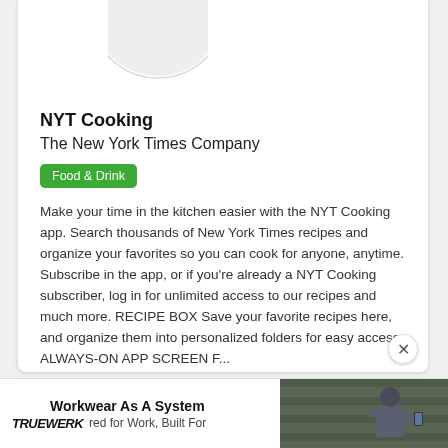[Figure (illustration): Partial circular app icon placeholder in light gray at top of card]
NYT Cooking
The New York Times Company
Food & Drink
Make your time in the kitchen easier with the NYT Cooking app. Search thousands of New York Times recipes and organize your favorites so you can cook for anyone, anytime. Subscribe in the app, or if you're already a NYT Cooking subscriber, log in for unlimited access to our recipes and much more. RECIPE BOX Save your favorite recipes here, and organize them into personalized folders for easy access. ALWAYS-ON APP SCREEN F...
Workwear As A System
TRUEWERK red for Work, Built For